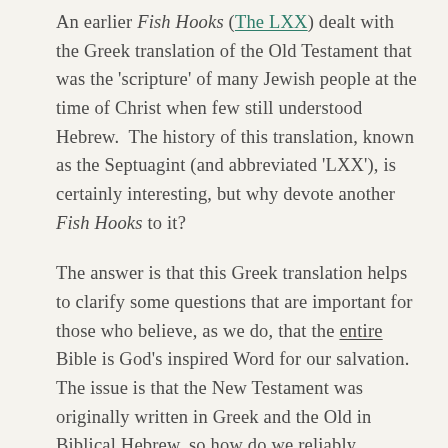An earlier Fish Hooks (The LXX) dealt with the Greek translation of the Old Testament that was the 'scripture' of many Jewish people at the time of Christ when few still understood Hebrew.  The history of this translation, known as the Septuagint (and abbreviated 'LXX'), is certainly interesting, but why devote another Fish Hooks to it?
The answer is that this Greek translation helps to clarify some questions that are important for those who believe, as we do, that the entire Bible is God's inspired Word for our salvation.  The issue is that the New Testament was originally written in Greek and the Old in Biblical Hebrew, so how do we reliably connect the two, despite the language differences? The LXX, as a direct translation into